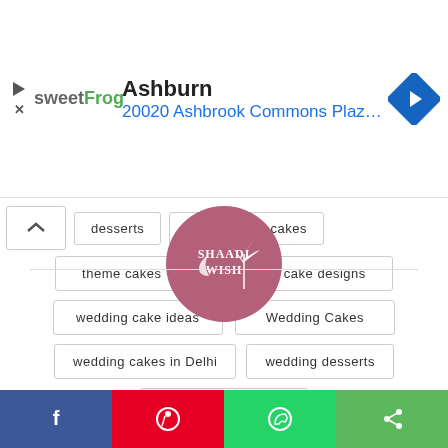[Figure (screenshot): Ad banner: sweetFrog logo, Ashburn location, 20020 Ashbrook Commons Plaza Ste., with navigation arrow icon]
desserts
personalized cakes
theme cakes
wedding cake designs
wedding cake ideas
Wedding Cakes
wedding cakes in Delhi
wedding desserts
wedding favors
[Figure (logo): Shaadi Wish circular logo — mauve/pink circle with white text and palm tree illustration]
[Figure (other): Social share bar with Facebook, Pinterest, WhatsApp, and share icons]